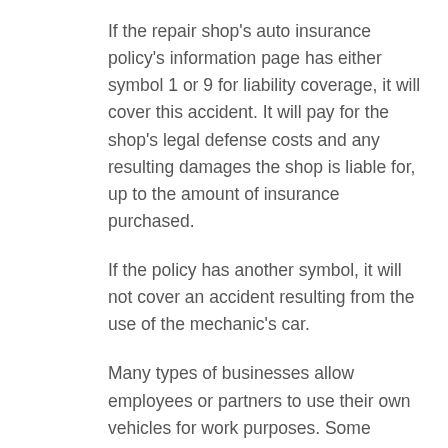If the repair shop's auto insurance policy's information page has either symbol 1 or 9 for liability coverage, it will cover this accident. It will pay for the shop's legal defense costs and any resulting damages the shop is liable for, up to the amount of insurance purchased.
If the policy has another symbol, it will not cover an accident resulting from the use of the mechanic's car.
Many types of businesses allow employees or partners to use their own vehicles for work purposes. Some examples:
Restaurants that deliver.
Businesses that do not provide company cars for employees.